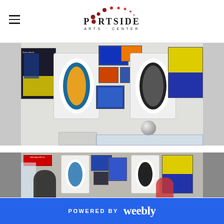Portside Arts Center
[Figure (photo): Interior gallery wall showing colorful student artworks including paintings and ceramic/vinyl record sculptures mounted on white walls]
[Figure (photo): Gallery opening or event scene showing people viewing artwork displayed on walls, including colorful paintings and sculptures]
POWERED BY weebly